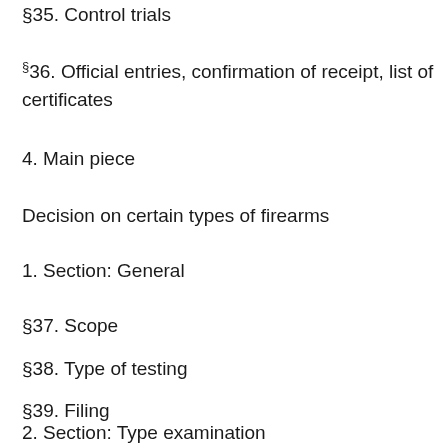§35. Control trials
§36. Official entries, confirmation of receipt, list of certificates
4. Main piece
Decision on certain types of firearms
1. Section: General
§37. Scope
§38. Type of testing
§39. Filing
2. Section: Type examination